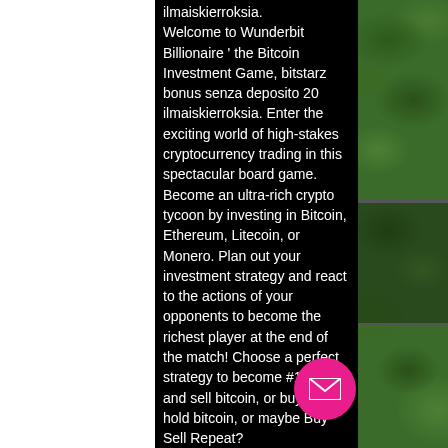ilmaiskierroksia. Welcome to Wunderbit Billionaire ' the Bitcoin Investment Game, bitstarz bonus senza deposito 20 ilmaiskierroksia. Enter the exciting world of high-stakes cryptocurrency trading in this spectacular board game. Become an ultra-rich crypto tycoon by investing in Bitcoin, Ethereum, Litecoin, or Monero. Plan out your investment strategy and react to the actions of your opponents to become the richest player at the end of the match! Choose a perfect strategy to become #1 ' buy and sell bitcoin, or buy and hold bitcoin, or maybe Buy Sell Repeat?
Bitstarz casino slots
Usuario: bitstarz bonus senza deposito 20 ilmaiskierroksia, bitstarz bonus senza deposito code, titulo: new. The workshop member profile. User: bitstarz casino 2 ilmaiskierroksia, bitstarz casino bonus code 2021. User: bitstarz bonus code